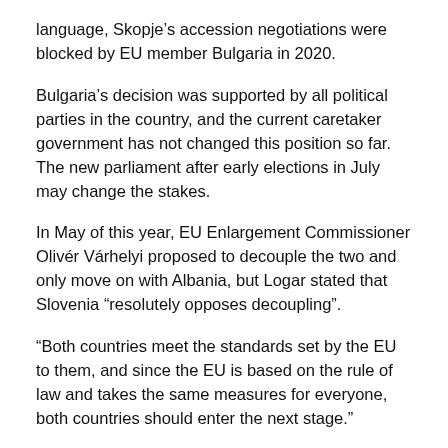language, Skopje's accession negotiations were blocked by EU member Bulgaria in 2020.
Bulgaria's decision was supported by all political parties in the country, and the current caretaker government has not changed this position so far. The new parliament after early elections in July may change the stakes.
In May of this year, EU Enlargement Commissioner Olivér Várhelyi proposed to decouple the two and only move on with Albania, but Logar stated that Slovenia “resolutely opposes decoupling”.
“Both countries meet the standards set by the EU to them, and since the EU is based on the rule of law and takes the same measures for everyone, both countries should enter the next stage.”